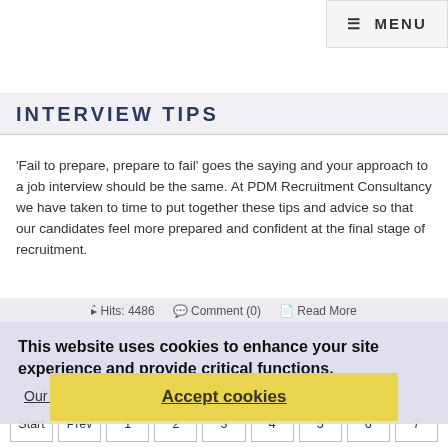≡ MENU
INTERVIEW TIPS
'Fail to prepare, prepare to fail' goes the saying and your approach to a job interview should be the same. At PDM Recruitment Consultancy we have taken to time to put together these tips and advice so that our candidates feel more prepared and confident at the final stage of recruitment.
Hits: 4486   Comment (0)   Read More
This website uses cookies to enhance your site experience and provide critical functions.
Our policy
Career Centre
Page 8 of 8
Accept cookies
Start  Prev  1  2  3  4  5  6  7